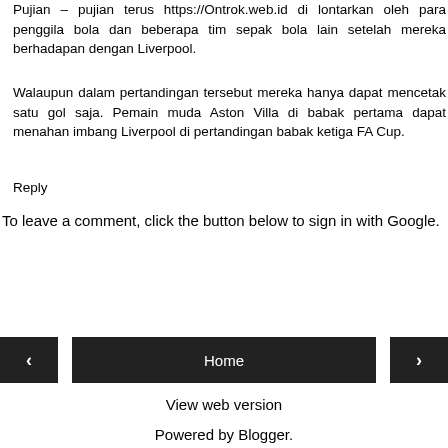Pujian – pujian terus https://Ontrok.web.id di lontarkan oleh para penggila bola dan beberapa tim sepak bola lain setelah mereka berhadapan dengan Liverpool.
Walaupun dalam pertandingan tersebut mereka hanya dapat mencetak satu gol saja. Pemain muda Aston Villa di babak pertama dapat menahan imbang Liverpool di pertandingan babak ketiga FA Cup.
Reply
To leave a comment, click the button below to sign in with Google.
[Figure (other): Blue 'SIGN IN WITH GOOGLE' button]
[Figure (other): Navigation bar with left arrow button, Home button, and right arrow button]
View web version
Powered by Blogger.